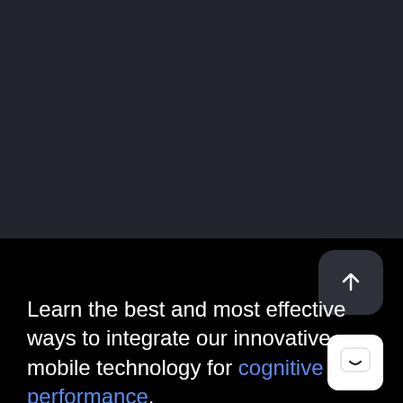[Figure (screenshot): Dark grey top background section occupying upper portion of the page]
[Figure (other): Scroll-to-top button with upward arrow icon, dark rounded square background]
Learn the best and most effective ways to integrate our innovative mobile technology for cognitive performance.
[Figure (other): Chat/messaging button icon, white rounded square with speech bubble smile icon]